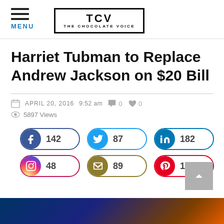MENU | TCV THE CHOCOLATE VOICE
Harriet Tubman to Replace Andrew Jackson on $20 Bill
APRIL 20, 2016  9:52 am  0 comments  0 likes  5897 Views
[Figure (infographic): Social share buttons: Facebook 142, Twitter 87, LinkedIn 182, Instagram 48, Email 89, Pinterest 171]
[Figure (photo): Partial bottom image strip with dark blue and orange gradient]